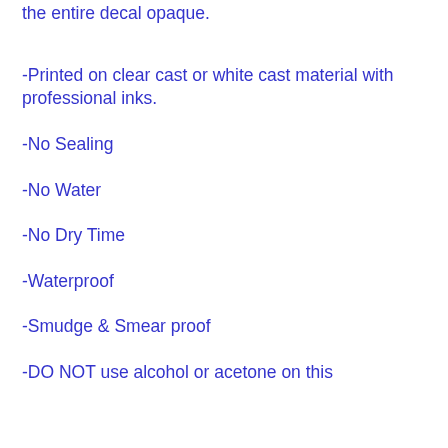the entire decal opaque.
-Printed on clear cast or white cast material with professional inks.
-No Sealing
-No Water
-No Dry Time
-Waterproof
-Smudge & Smear proof
-DO NOT use alcohol or acetone on this